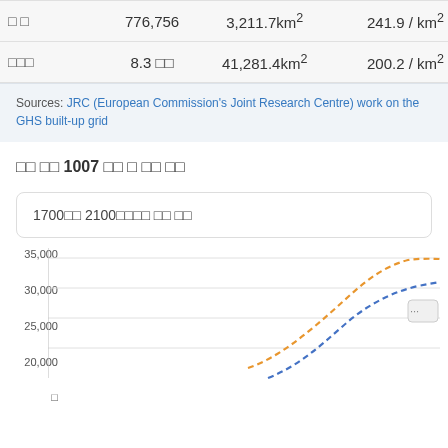|  |  |  |  |
| --- | --- | --- | --- |
| □ □ | 776,756 | 3,211.7km² | 241.9 / km² |
| □□□ | 8.3 □□ | 41,281.4km² | 200.2 / km² |
Sources: JRC (European Commission's Joint Research Centre) work on the GHS built-up grid
□□ □□ 1007 □□ □ □□ □□
1700□□ 2100□□□□ □□ □□
[Figure (line-chart): ]